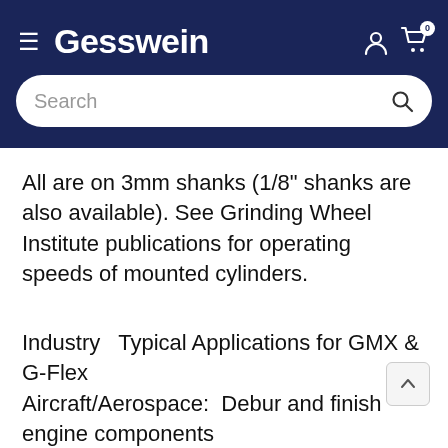Gesswein
All are on 3mm shanks (1/8" shanks are also available). See Grinding Wheel Institute publications for operating speeds of mounted cylinders.
Industry   Typical Applications for GMX & G-Flex
Aircraft/Aerospace:  Debur and finish engine components